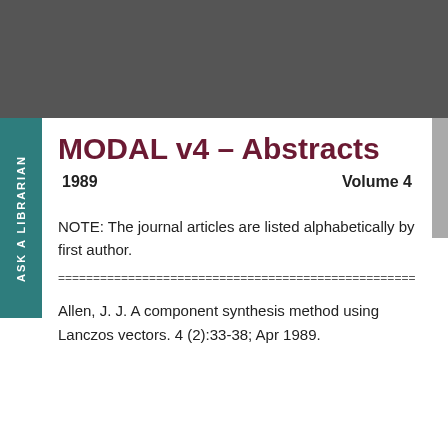MODAL v4 - Abstracts
1989    Volume 4
NOTE: The journal articles are listed alphabetically by first author.
================================================================
Allen, J. J. A component synthesis method using Lanczos vectors. 4 (2):33-38; Apr 1989.